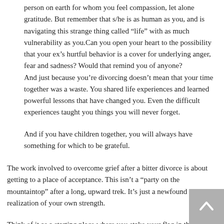person on earth for whom you feel compassion, let alone gratitude. But remember that s/he is as human as you, and is navigating this strange thing called “life” with as much vulnerability as you.Can you open your heart to the possibility that your ex’s hurtful behavior is a cover for underlying anger, fear and sadness? Would that remind you of anyone?
And just because you’re divorcing doesn’t mean that your time together was a waste. You shared life experiences and learned powerful lessons that have changed you. Even the difficult experiences taught you things you will never forget.

And if you have children together, you will always have something for which to be grateful.
The work involved to overcome grief after a bitter divorce is about getting to a place of acceptance. This isn’t a “party on the mountaintop” after a long, upward trek. It’s just a newfound realization of your own strength.
Think of it as a starting place where you stake your flag in the ground and say, “Now, I’m ready to move forward.”
I’m Dr. Karen Finn, a divorce and life coach, who works with people